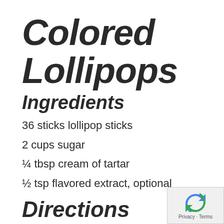Colored Lollipops
Ingredients
36 sticks lollipop sticks
2 cups sugar
¼ tbsp cream of tartar
½ tsp flavored extract, optional
Directions
Special equipment: 2 lollipop molds and lollipop